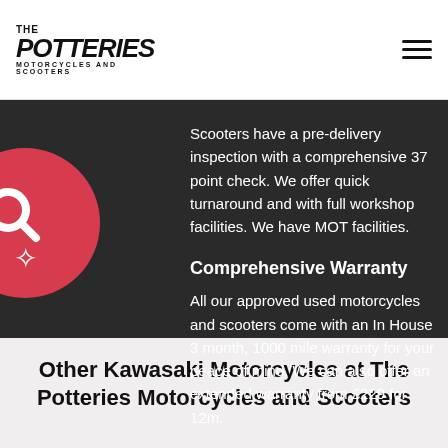The Potteries Motorcycles and Scooters
Scooters have a pre-delivery inspection with a comprehensive 37 point check. We offer quick turnaround and with full workshop facilities. We have MOT facilities.
Comprehensive Warranty
All our approved used motorcycles and scooters come with an In House 3 month, 1000 mile warranty for your peace of mind. We can also offer an extended warranty from £229 for 12m.
Other Kawasaki Motorcycles at The Potteries Motorcycles and Scooters